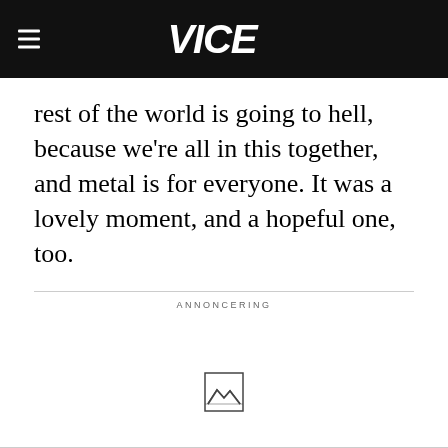VICE
rest of the world is going to hell, because we're all in this together, and metal is for everyone. It was a lovely moment, and a hopeful one, too.
ANNONCERING
[Figure (other): Broken image placeholder icon in advertisement area]